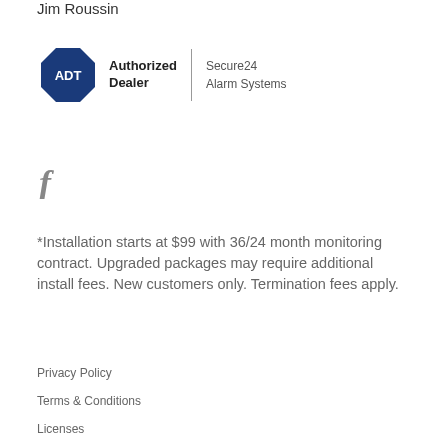Jim Roussin
[Figure (logo): ADT Authorized Dealer logo with Secure24 Alarm Systems text]
[Figure (other): Facebook icon (stylized f in gray)]
*Installation starts at $99 with 36/24 month monitoring contract. Upgraded packages may require additional install fees. New customers only. Termination fees apply.
Privacy Policy
Terms & Conditions
Licenses